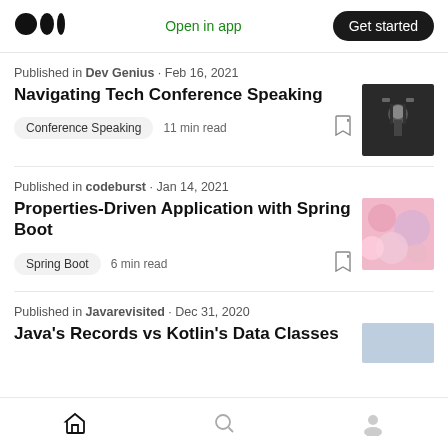Medium logo | Open in app | Get started
Published in Dev Genius · Feb 16, 2021
Navigating Tech Conference Speaking
Conference Speaking  11 min read
Published in codeburst · Jan 14, 2021
Properties-Driven Application with Spring Boot
Spring Boot  6 min read
Published in Javarevisited · Dec 31, 2020
Java's Records vs Kotlin's Data Classes
Home | Search | Profile